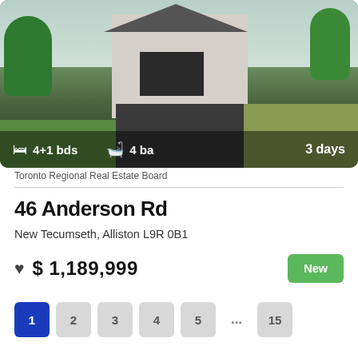[Figure (photo): Aerial/elevated photo of a detached house with double garage, dark driveway, green lawn, and trees on both sides. Split composition showing front of house and side yard.]
4+1 bds   4 ba   3 days
Toronto Regional Real Estate Board
46 Anderson Rd
New Tecumseth, Alliston L9R 0B1
$ 1,189,999
New
1  2  3  4  5  ...  15